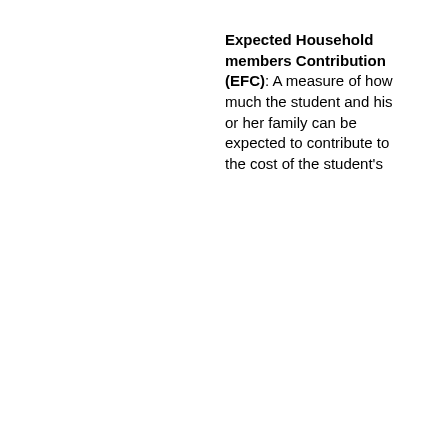Expected Household members Contribution (EFC): A measure of how much the student and his or her family can be expected to contribute to the cost of the student's